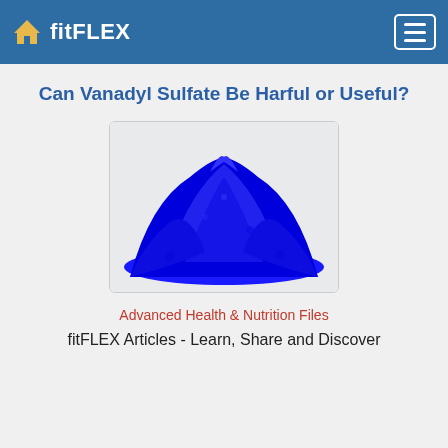fitFLEX
Can Vanadyl Sulfate Be Harful or Useful?
[Figure (photo): Blue vanadyl sulfate powder piled on a surface]
Advanced Health & Nutrition Files
fitFLEX Articles - Learn, Share and Discover